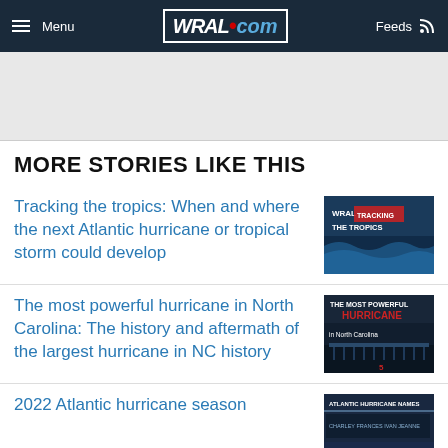Menu | WRAL.com | Feeds
MORE STORIES LIKE THIS
Tracking the tropics: When and where the next Atlantic hurricane or tropical storm could develop
[Figure (photo): WRAL Tracking the Tropics thumbnail image with stormy ocean waves]
The most powerful hurricane in North Carolina: The history and aftermath of the largest hurricane in NC history
[Figure (photo): The Most Powerful Hurricane in North Carolina thumbnail with damaged pier]
2022 Atlantic hurricane season